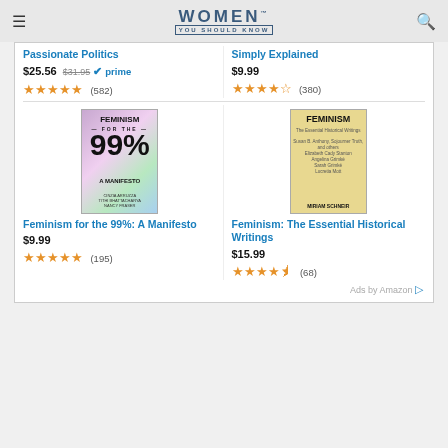WOMEN YOU SHOULD KNOW
Passionate Politics
$25.56 $31.95 prime (582)
Simply Explained
$9.99 (380)
[Figure (photo): Book cover: Feminism for the 99%: A Manifesto]
Feminism for the 99%: A Manifesto
$9.99 (195)
[Figure (photo): Book cover: Feminism: The Essential Historical Writings]
Feminism: The Essential Historical Writings
$15.99 (68)
Ads by Amazon